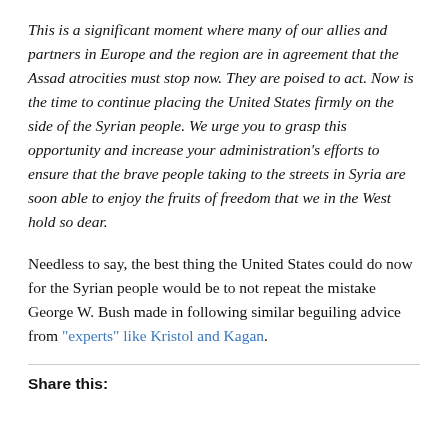This is a significant moment where many of our allies and partners in Europe and the region are in agreement that the Assad atrocities must stop now. They are poised to act. Now is the time to continue placing the United States firmly on the side of the Syrian people. We urge you to grasp this opportunity and increase your administration's efforts to ensure that the brave people taking to the streets in Syria are soon able to enjoy the fruits of freedom that we in the West hold so dear.
Needless to say, the best thing the United States could do now for the Syrian people would be to not repeat the mistake George W. Bush made in following similar beguiling advice from "experts" like Kristol and Kagan.
Share this: